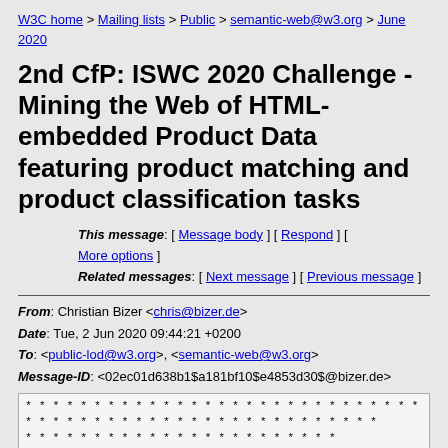W3C home > Mailing lists > Public > semantic-web@w3.org > June 2020
2nd CfP: ISWC 2020 Challenge - Mining the Web of HTML-embedded Product Data featuring product matching and product classification tasks
This message: [ Message body ] [ Respond ] [ More options ] Related messages: [ Next message ] [ Previous message ]
From: Christian Bizer <chris@bizer.de>
Date: Tue, 2 Jun 2020 09:44:21 +0200
To: <public-lod@w3.org>, <semantic-web@w3.org>
Message-ID: <02ec01d638b1$a181bf10$e4853d30$@bizer.de>
* * * * * * * * * * * * * * * * * * * * * * * * * * * * * * * * * * * * * * * * * * * * * * * * * * * * * * *